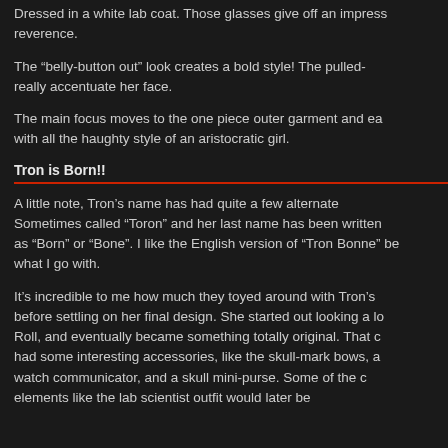Dressed in a white lab coat. Those glasses give off an impressive reverence.
The “belly-button out” look creates a bold style! The pulled- really accentuate her face.
The main focus moves to the one piece outer garment and ea with all the haughty style of an aristocratic girl.
Tron is Born!!
A little note, Tron’s name has had quite a few alternate Sometimes called “Toron” and her last name has been written as “Born” or “Bone”. I like the English version of “Tron Bonne” be what I go with.
It’s incredible to me how much they toyed around with Tron’s before settling on her final design. She started out looking a lo Roll, and eventually became something totally original. That c had some interesting accessories, like the skull-mark bows, a watch communicator, and a skull mini-purse. Some of the c elements like the lab scientist outfit would later be